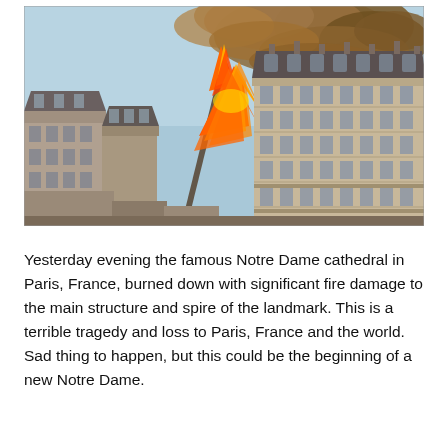[Figure (photo): Photograph of Notre Dame Cathedral fire in Paris. The spire is visible with massive orange flames and thick black and orange smoke billowing upward. Haussmann-style Parisian buildings are visible in the foreground and right side of the frame. The sky is light blue in the upper left.]
Yesterday evening the famous Notre Dame cathedral in Paris, France, burned down with significant fire damage to the main structure and spire of the landmark. This is a terrible tragedy and loss to Paris, France and the world. Sad thing to happen, but this could be the beginning of a new Notre Dame.